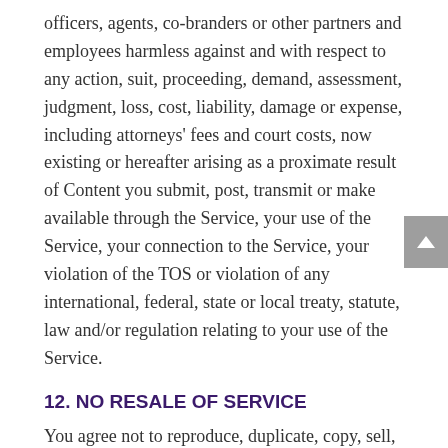officers, agents, co-branders or other partners and employees harmless against and with respect to any action, suit, proceeding, demand, assessment, judgment, loss, cost, liability, damage or expense, including attorneys' fees and court costs, now existing or hereafter arising as a proximate result of Content you submit, post, transmit or make available through the Service, your use of the Service, your connection to the Service, your violation of the TOS or violation of any international, federal, state or local treaty, statute, law and/or regulation relating to your use of the Service.
12. NO RESALE OF SERVICE
You agree not to reproduce, duplicate, copy, sell, trade, resell or exploit for any commercial purposes, any portion of the Service, including...